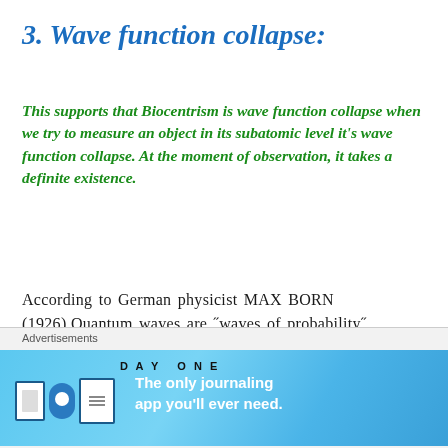3. Wave function collapse:
This supports that Biocentrism is wave function collapse when we try to measure an object in its subatomic level it's wave function collapse. At the moment of observation, it takes a definite existence.
According to German physicist MAX BORN (1926),Quantum waves are ˝waves of probability˝, not waves of material.
▌
Advertisements — DAY ONE — The only journaling app you'll ever need.